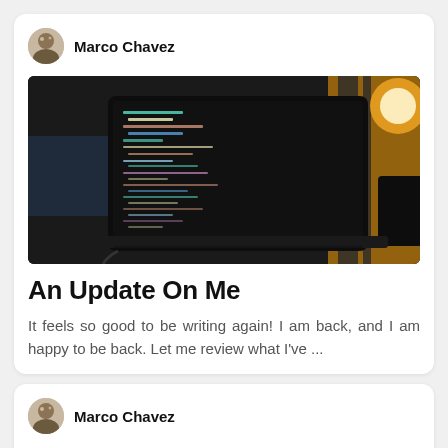Marco Chavez
[Figure (photo): Laptop with code editor open on screen showing colorful syntax highlighted code, set on a dark desk with warm yellow lamp light in background]
An Update On Me
It feels so good to be writing again! I am back, and I am happy to be back. Let me review what I've ...
Marco Chavez